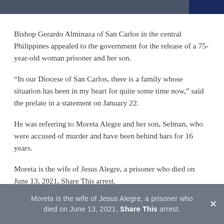Bishop Gerardo Alminaza of San Carlos in the central Philippines appealed to the government for the release of a 75-year-old woman prisoner and her son.
“In our Diocese of San Carlos, there is a family whose situation has been in my heart for quite some time now,” said the prelate in a statement on January 22.
He was referring to Moreta Alegre and her son, Selman, who were accused of murder and have been behind bars for 16 years.
Moreta is the wife of Jesus Alegre, a prisoner who died on June 13, 2021, Share This arrest.
Share This